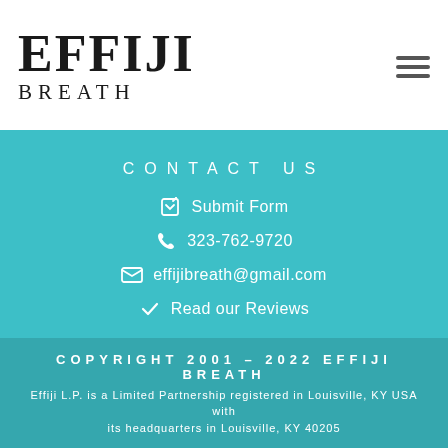[Figure (logo): Effiji Breath logo with large serif EFFIJI text and smaller BREATH text below]
CONTACT US
Submit Form
323-762-9720
effijibreath@gmail.com
Read our Reviews
COPYRIGHT 2001 - 2022 EFFIJI BREATH
Effiji L.P. is a Limited Partnership registered in Louisville, KY USA with its headquarters in Louisville, KY 40205